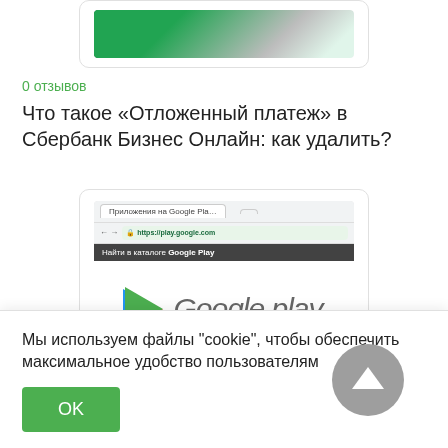[Figure (screenshot): Partial screenshot of a browser or app page showing a Sberbank-related interface, cropped at the top]
0 отзывов
Что такое «Отложенный платеж» в Сбербанк Бизнес Онлайн: как удалить?
[Figure (screenshot): Screenshot of Google Play store page shown in a browser at https://play.google.com, displaying the Google Play logo with a colorful triangle icon]
0 отзывов
Мы используем файлы "cookie", чтобы обеспечить максимальное удобство пользователям